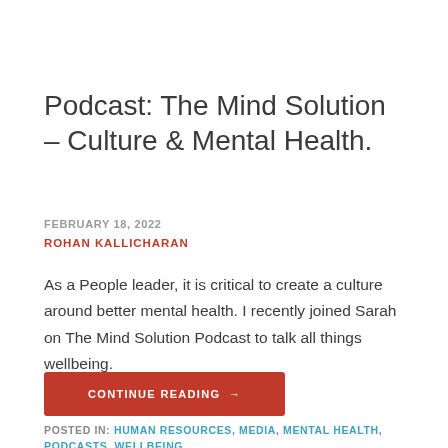Podcast: The Mind Solution – Culture & Mental Health.
FEBRUARY 18, 2022
ROHAN KALLICHARAN
As a People leader, it is critical to create a culture around better mental health. I recently joined Sarah on The Mind Solution Podcast to talk all things wellbeing.
CONTINUE READING →
POSTED IN: HUMAN RESOURCES, MEDIA, MENTAL HEALTH, PODCASTS, WELLBEING